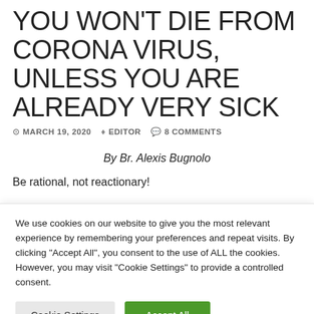YOU WON'T DIE FROM CORONA VIRUS, UNLESS YOU ARE ALREADY VERY SICK
MARCH 19, 2020  EDITOR  8 COMMENTS
By Br. Alexis Bugnolo
Be rational, not reactionary!
We use cookies on our website to give you the most relevant experience by remembering your preferences and repeat visits. By clicking "Accept All", you consent to the use of ALL the cookies. However, you may visit "Cookie Settings" to provide a controlled consent.